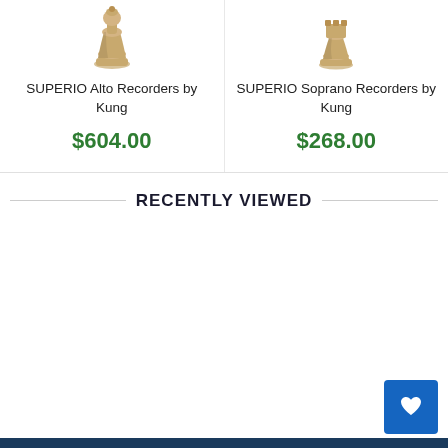[Figure (photo): Chess piece (rook/pawn wooden piece) image for SUPERIO Alto Recorders by Kung product]
SUPERIO Alto Recorders by Kung
$604.00
[Figure (photo): Chess piece (rook/pawn wooden piece) image for SUPERIO Soprano Recorders by Kung product]
SUPERIO Soprano Recorders by Kung
$268.00
RECENTLY VIEWED